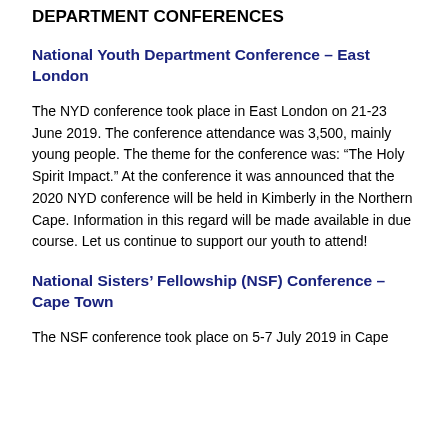DEPARTMENT CONFERENCES
National Youth Department Conference – East London
The NYD conference took place in East London on 21-23 June 2019. The conference attendance was 3,500, mainly young people. The theme for the conference was: “The Holy Spirit Impact.” At the conference it was announced that the 2020 NYD conference will be held in Kimberly in the Northern Cape. Information in this regard will be made available in due course. Let us continue to support our youth to attend!
National Sisters’ Fellowship (NSF) Conference – Cape Town
The NSF conference took place on 5-7 July 2019 in Cape